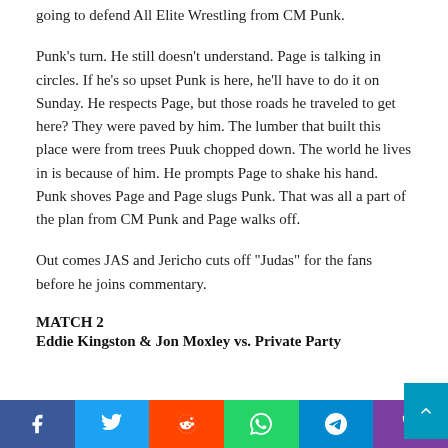going to defend All Elite Wrestling from CM Punk.
Punk’s turn. He still doesn’t understand. Page is talking in circles. If he’s so upset Punk is here, he’ll have to do it on Sunday. He respects Page, but those roads he traveled to get here? They were paved by him. The lumber that built this place were from trees Puuk chopped down. The world he lives in is because of him. He prompts Page to shake his hand. Punk shoves Page and Page slugs Punk. That was all a part of the plan from CM Punk and Page walks off.
Out comes JAS and Jericho cuts off “Judas” for the fans before he joins commentary.
MATCH 2
Eddie Kingston & Jon Moxley vs. Private Party